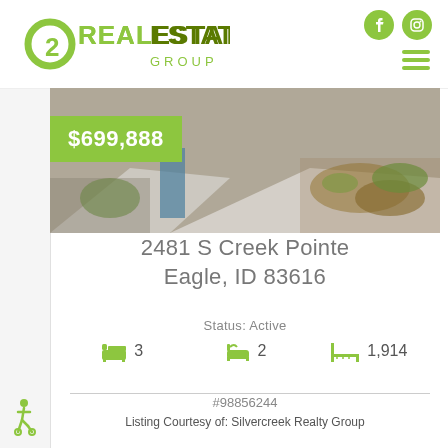[Figure (logo): O2 Real Estate Group logo in olive/yellow-green color]
[Figure (photo): Exterior landscaping photo of property with concrete driveway and rock garden]
$699,888
2481 S Creek Pointe
Eagle, ID 83616
Status: Active
3   2   1,914
#98856244
Listing Courtesy of: Silvercreek Realty Group